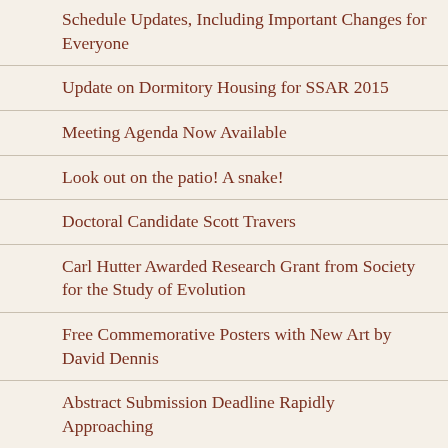Schedule Updates, Including Important Changes for Everyone
Update on Dormitory Housing for SSAR 2015
Meeting Agenda Now Available
Look out on the patio! A snake!
Doctoral Candidate Scott Travers
Carl Hutter Awarded Research Grant from Society for the Study of Evolution
Free Commemorative Posters with New Art by David Dennis
Abstract Submission Deadline Rapidly Approaching
Post Rock Country